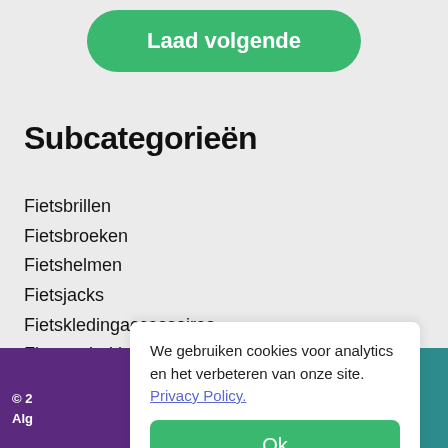[Figure (other): Green rounded button labeled 'Laad volgende']
Subcategorieën
Fietsbrillen
Fietsbroeken
Fietshelmen
Fietsjacks
Fietskledingaccessoires
Fietsonderkleding
We gebruiken cookies voor analytics en het verbeteren van onze site. Privacy Policy.
Ok
© 2
Alg